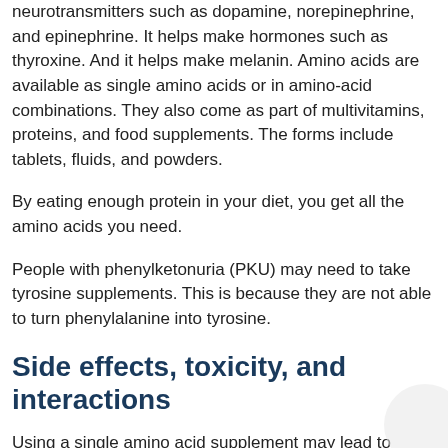neurotransmitters such as dopamine, norepinephrine, and epinephrine. It helps make hormones such as thyroxine. And it helps make melanin. Amino acids are available as single amino acids or in amino-acid combinations. They also come as part of multivitamins, proteins, and food supplements. The forms include tablets, fluids, and powders.
By eating enough protein in your diet, you get all the amino acids you need.
People with phenylketonuria (PKU) may need to take tyrosine supplements. This is because they are not able to turn phenylalanine into tyrosine.
Side effects, toxicity, and interactions
Using a single amino acid supplement may lead to negative nitrogen balance. This can lessen how well